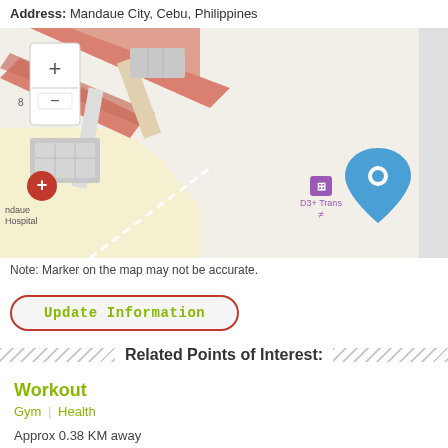Address: Mandaue City, Cebu, Philippines
[Figure (map): Street map showing Mandaue City area with hospital marker (red cross), D3+ Trans marker (purple), zoom controls (+/-), and a blue location pin on the right side of the map.]
Note: Marker on the map may not be accurate.
Update Information
Related Points of Interest:
Workout
Gym | Health
Approx 0.38 KM away